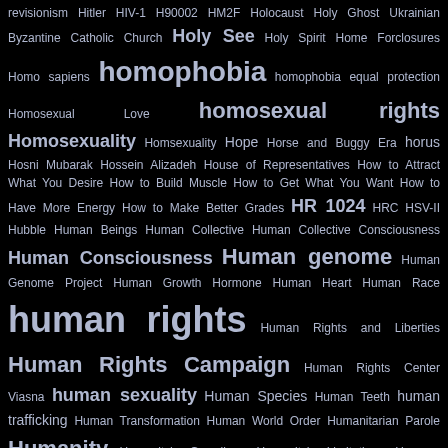revisionism Hitler HIV-1 H90002 HM2F Holocaust Holy Ghost Ukrainian Byzantine Catholic Church Holy See Holy Spirit Home Forclosures Homo sapiens homophobia homophobia equal protection Homosexual Love homosexual rights Homosexuality Homsexuality Hope Horse and Buggy Era horus Hosni Mubarak Hossein Alizadeh House of Representatives How to Attract What You Desire How to Build Muscle How to Get What You Want How to Have More Energy How to Make Better Grades HR 1024 HRC HSV-II Hubble Human Beings Human Collective Human Collective Consciousness Human Consciousness Human genome Human Genome Project Human Growth Hormone Human Heart Human Race human rights Human Rights and Liberties Human Rights Campaign Human Rights Center Viasna human sexuality Human Species Human Teeth human trafficking Human Transformation Human World Order Humanitarian Parole Humanity Humanity's Guardians Humanity's Limitations Humans Humbolt penguins Humor Hundreth Monkey Huntington WV Hurriyet Yilmaz Hydrocephalic ... Hydroton ... floroside